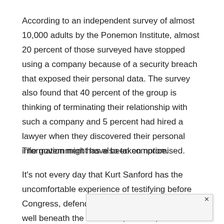According to an independent survey of almost 10,000 adults by the Ponemon Institute, almost 20 percent of those surveyed have stopped using a company because of a security breach that exposed their personal data. The survey also found that 40 percent of the group is thinking of terminating their relationship with such a company and 5 percent had hired a lawyer when they discovered their personal information might have been compromised.
The government has also taken notice.
It's not every day that Kurt Sanford has the uncomfortable experience of testifying before Congress, defending an industry that has flown well beneath the radar and, thus far, been loosely regulated. But the heat is being turned up on ChoicePoint, LexisNex...